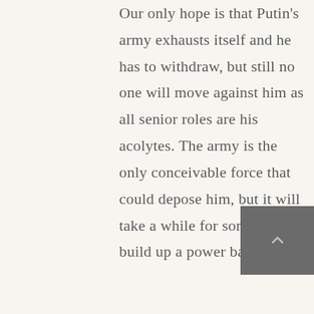Our only hope is that Putin's army exhausts itself and he has to withdraw, but still no one will move against him as all senior roles are his acolytes. The army is the only conceivable force that could depose him, but it will take a while for some one to build up a power base to do
[Figure (photo): Small dark gray thumbnail image with a faint upward chevron/caret icon in the center, positioned at the bottom right of the page.]